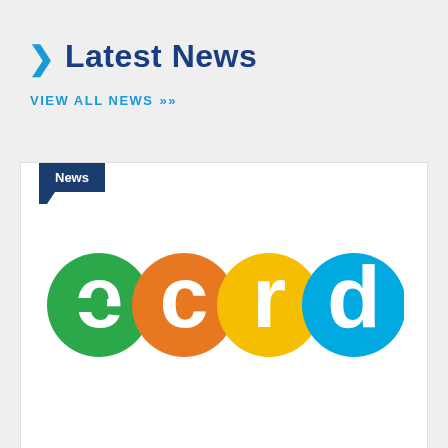> Latest News
VIEW ALL NEWS >>
News
[Figure (logo): ECRD logo made of four colorful circular letter shapes: green 'e', orange 'c', yellow 'r', and blue 'd']